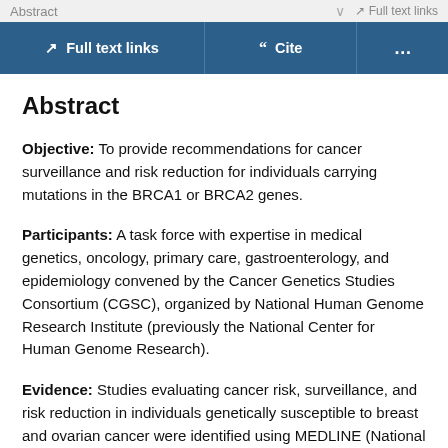Abstract | Full text links
Full text links | Cite | ...
Abstract
Objective: To provide recommendations for cancer surveillance and risk reduction for individuals carrying mutations in the BRCA1 or BRCA2 genes.
Participants: A task force with expertise in medical genetics, oncology, primary care, gastroenterology, and epidemiology convened by the Cancer Genetics Studies Consortium (CGSC), organized by National Human Genome Research Institute (previously the National Center for Human Genome Research).
Evidence: Studies evaluating cancer risk, surveillance, and risk reduction in individuals genetically susceptible to breast and ovarian cancer were identified using MEDLINE (National Library of Medicine) and from